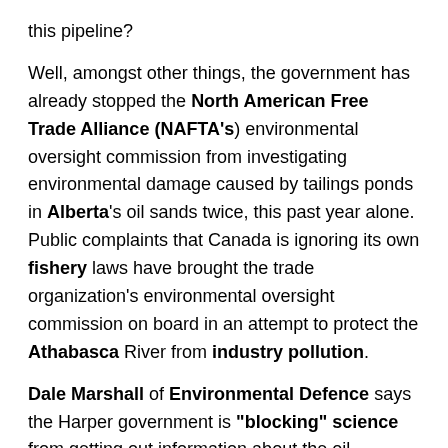this pipeline?
Well, amongst other things, the government has already stopped the North American Free Trade Alliance (NAFTA's) environmental oversight commission from investigating environmental damage caused by tailings ponds in Alberta's oil sands twice, this past year alone. Public complaints that Canada is ignoring its own fishery laws have brought the trade organization's environmental oversight commission on board in an attempt to protect the Athabasca River from industry pollution.
Dale Marshall of Environmental Defence says the Harper government is "blocking" science from getting out information about the oil industry's harm to the watershed.